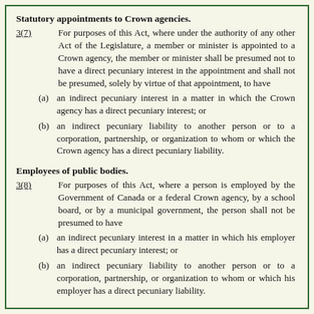Statutory appointments to Crown agencies.
3(7)   For purposes of this Act, where under the authority of any other Act of the Legislature, a member or minister is appointed to a Crown agency, the member or minister shall be presumed not to have a direct pecuniary interest in the appointment and shall not be presumed, solely by virtue of that appointment, to have
(a)  an indirect pecuniary interest in a matter in which the Crown agency has a direct pecuniary interest; or
(b)  an indirect pecuniary liability to another person or to a corporation, partnership, or organization to whom or which the Crown agency has a direct pecuniary liability.
Employees of public bodies.
3(8)   For purposes of this Act, where a person is employed by the Government of Canada or a federal Crown agency, by a school board, or by a municipal government, the person shall not be presumed to have
(a)  an indirect pecuniary interest in a matter in which his employer has a direct pecuniary interest; or
(b)  an indirect pecuniary liability to another person or to a corporation, partnership, or organization to whom or which his employer has a direct pecuniary liability.
Meetings involving members.